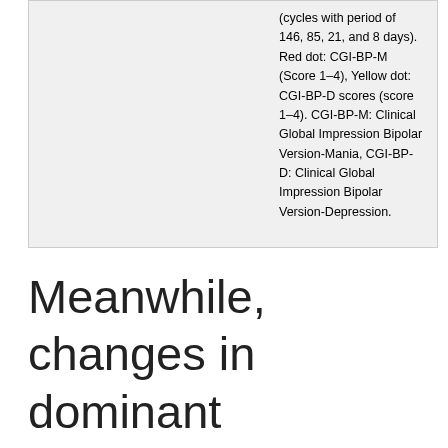(cycles with period of 146, 85, 21, and 8 days). Red dot: CGI-BP-M (Score 1–4), Yellow dot: CGI-BP-D scores (score 1–4). CGI-BP-M: Clinical Global Impression Bipolar Version-Mania, CGI-BP-D: Clinical Global Impression Bipolar Version-Depression.
Meanwhile, changes in dominant frequencies had some relevance with the change of clinical symptoms. For example, at